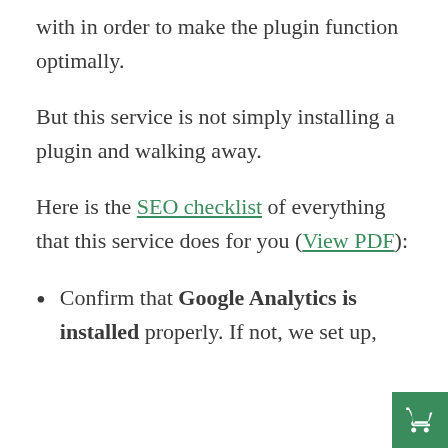with in order to make the plugin function optimally.
But this service is not simply installing a plugin and walking away.
Here is the SEO checklist of everything that this service does for you (View PDF):
Confirm that Google Analytics is installed properly. If not, we set up,